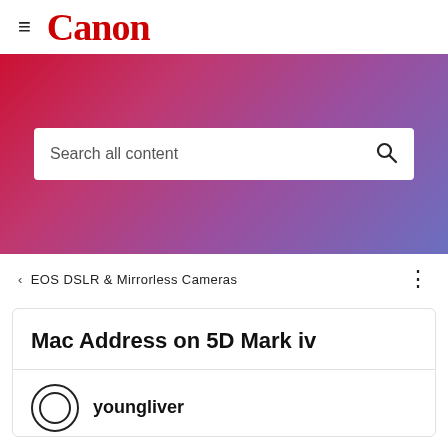≡ Canon
[Figure (screenshot): Canon website hero banner with red-to-purple gradient background containing a search bar with text 'Search all content' and a search icon]
< EOS DSLR & Mirrorless Cameras
Mac Address on 5D Mark iv
youngliver